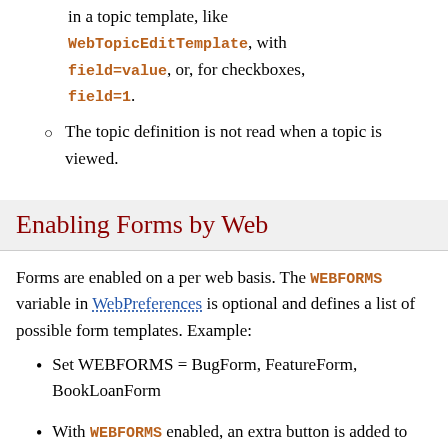in a topic template, like WebTopicEditTemplate, with field=value, or, for checkboxes, field=1.
The topic definition is not read when a topic is viewed.
Enabling Forms by Web
Forms are enabled on a per web basis. The WEBFORMS variable in WebPreferences is optional and defines a list of possible form templates. Example:
Set WEBFORMS = BugForm, FeatureForm, BookLoanForm
With WEBFORMS enabled, an extra button is added to the edit view. If the topic doesn't